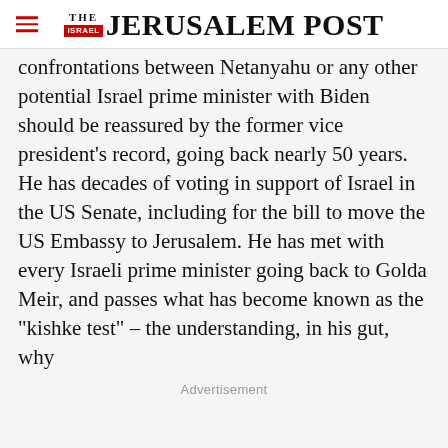THE JERUSALEM POST
confrontations between Netanyahu or any other potential Israel prime minister with Biden should be reassured by the former vice president’s record, going back nearly 50 years. He has decades of voting in support of Israel in the US Senate, including for the bill to move the US Embassy to Jerusalem. He has met with every Israeli prime minister going back to Golda Meir, and passes what has become known as the “kishke test” – the understanding, in his gut, why
Advertisement